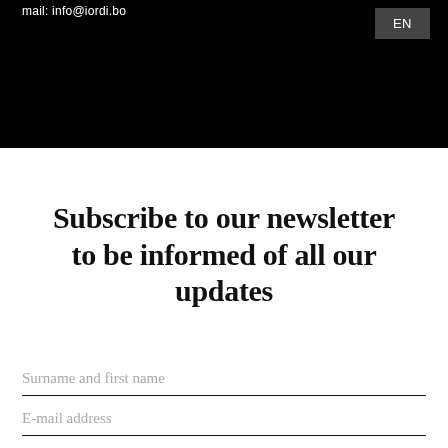mail: info@iordi.bo
EN
Subscribe to our newsletter to be informed of all our updates
Surname and first name
E-mail address